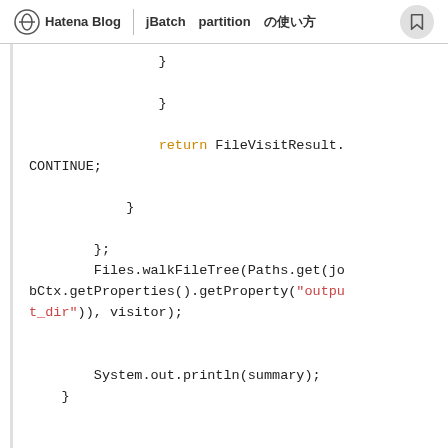Hatena Blog | jBatch　partition　の使い方
[Figure (screenshot): Java code snippet showing file tree walking and @Override annotation with colored syntax highlighting. Code includes: closing braces, return FileVisitResult.CONTINUE;, Files.walkFileTree(Paths.get(jobCtx.getProperties().getProperty("output_dir")), visitor);, System.out.println(summary);, closing brace, @Override, public void afterPartitionedStepCom]